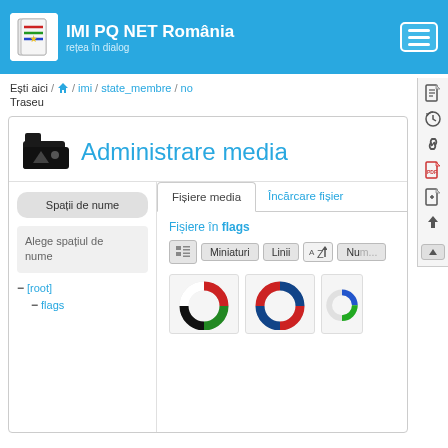IMI PQ NET România — rețea în dialog
Ești aici / imi / state_membre / no — Traseu
Administrare media
Spații de nume
Alege spațiul de nume
- [root]
- flags
Fișiere media | Încărcare fișier
Fișiere în flags
Miniaturi  Linii  Num...
[Figure (screenshot): Two circular flag/logo thumbnails partially visible at the bottom]